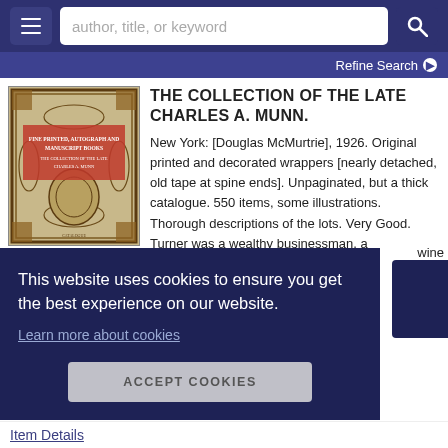author, title, or keyword
Refine Search
[Figure (illustration): Book cover with ornate decorative border pattern in dark tones with red text panel]
THE COLLECTION OF THE LATE CHARLES A. MUNN.
New York: [Douglas McMurtrie], 1926. Original printed and decorated wrappers [nearly detached, old tape at spine ends]. Unpaginated, but a thick catalogue. 550 items, some illustrations. Thorough descriptions of the lots. Very Good. Turner was a wealthy businessman, a
wine
This website uses cookies to ensure you get the best experience on our website.
Learn more about cookies
ACCEPT COOKIES
Item Details